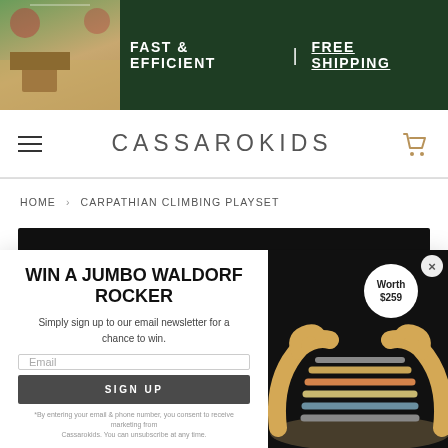[Figure (screenshot): E-commerce website banner with dark green background, decorative holiday image on left, and text 'FAST & EFFICIENT | FREE SHIPPING' in white]
CASSAROKIDS
HOME › CARPATHIAN CLIMBING PLAYSET
[Figure (screenshot): Popup modal with 'WIN A JUMBO WALDORF ROCKER' headline, email signup form, and product photo of wooden rocker with 'Worth $259' badge]